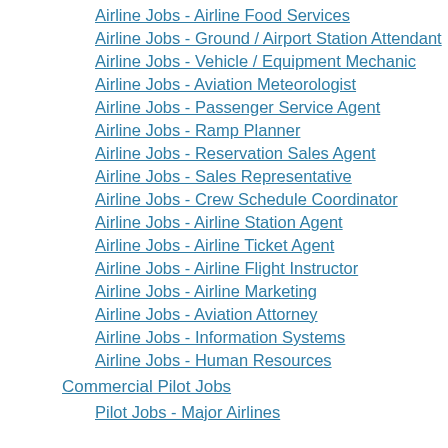Airline Jobs - Airline Food Services
Airline Jobs - Ground / Airport Station Attendant
Airline Jobs - Vehicle / Equipment Mechanic
Airline Jobs - Aviation Meteorologist
Airline Jobs - Passenger Service Agent
Airline Jobs - Ramp Planner
Airline Jobs - Reservation Sales Agent
Airline Jobs - Sales Representative
Airline Jobs - Crew Schedule Coordinator
Airline Jobs - Airline Station Agent
Airline Jobs - Airline Ticket Agent
Airline Jobs - Airline Flight Instructor
Airline Jobs - Airline Marketing
Airline Jobs - Aviation Attorney
Airline Jobs - Information Systems
Airline Jobs - Human Resources
Commercial Pilot Jobs
Pilot Jobs - Major Airlines